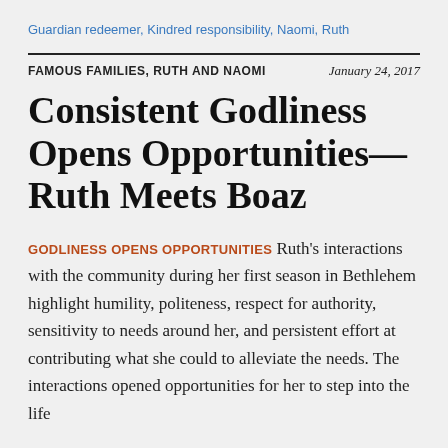Guardian redeemer, Kindred responsibility, Naomi, Ruth
FAMOUS FAMILIES, RUTH AND NAOMI
January 24, 2017
Consistent Godliness Opens Opportunities—Ruth Meets Boaz
GODLINESS OPENS OPPORTUNITIES Ruth's interactions with the community during her first season in Bethlehem highlight humility, politeness, respect for authority, sensitivity to needs around her, and persistent effort at contributing what she could to alleviate the needs. The interactions opened opportunities for her to step into the life